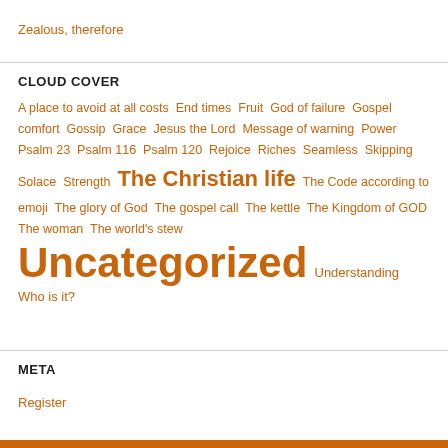Zealous, therefore
CLOUD COVER
A place to avoid at all costs  End times  Fruit  God of failure  Gospel comfort  Gossip  Grace  Jesus the Lord  Message of warning  Power  Psalm 23  Psalm 116  Psalm 120  Rejoice  Riches  Seamless  Skipping  Solace  Strength  The Christian life  The Code according to emoji  The glory of God  The gospel call  The kettle  The Kingdom of GOD  The woman  The world's stew  Uncategorized  Understanding  Who is it?
META
Register